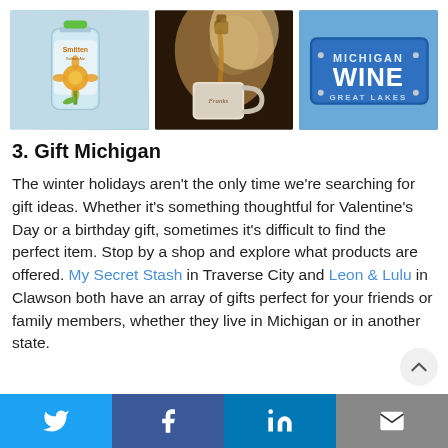[Figure (photo): Three photos side by side: a Smitten Golden Ale beer can, a coffee/liquid being poured into a Franks mug, and a Michigan Wine Great Lakes license plate]
3. Gift Michigan
The winter holidays aren't the only time we're searching for gift ideas. Whether it's something thoughtful for Valentine's Day or a birthday gift, sometimes it's difficult to find the perfect item. Stop by a shop and explore what products are offered. My Secret Stash in Traverse City and Leon & Lulu in Clawson both have an array of gifts perfect for your friends or family members, whether they live in Michigan or in another state.
Twitter | Facebook | LinkedIn | Email